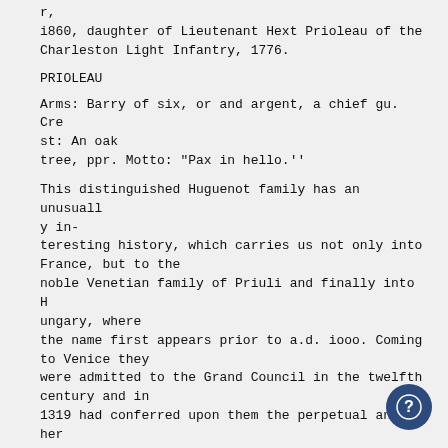r,
i860, daughter of Lieutenant Hext Prioleau of the Charleston Light Infantry, 1776.
PRIOLEAU
Arms: Barry of six, or and argent, a chief gu. Crest: An oak tree, ppr. Motto: "Pax in hello.''
This distinguished Huguenot family has an unusually in-teresting history, which carries us not only into France, but to the noble Venetian family of Priuli and finally into Hungary, where the name first appears prior to a.d. iooo. Coming to Venice they were admitted to the Grand Council in the twelfth century and in 1319 had conferred upon them the perpetual and hereditary right